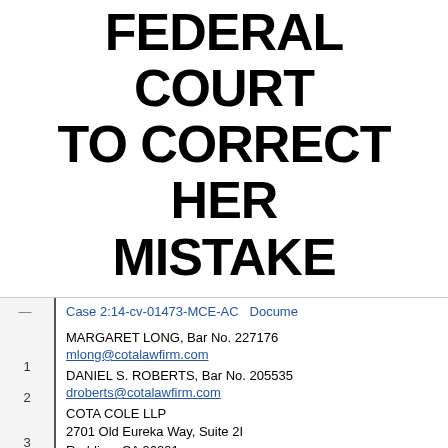FEDERAL COURT TO CORRECT HER MISTAKE
Case 2:14-cv-01473-MCE-AC   Docume
1  MARGARET LONG, Bar No. 227176 mlong@cotalawfirm.com
2  DANIEL S. ROBERTS, Bar No. 205535 droberts@cotalawfirm.com
3  COTA COLE LLP
2701 Old Eureka Way, Suite 2I
4  Redding, CA 96001
Telephone:     (530) 722-9409
5  Facsimile:      (530) 722-9428